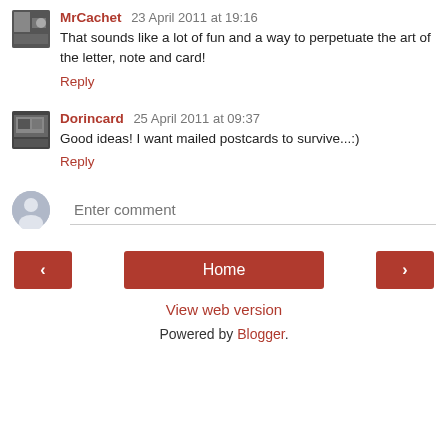MrCachet 23 April 2011 at 19:16
That sounds like a lot of fun and a way to perpetuate the art of the letter, note and card!
Reply
Dorincard 25 April 2011 at 09:37
Good ideas! I want mailed postcards to survive...:)
Reply
Enter comment
Home
View web version
Powered by Blogger.